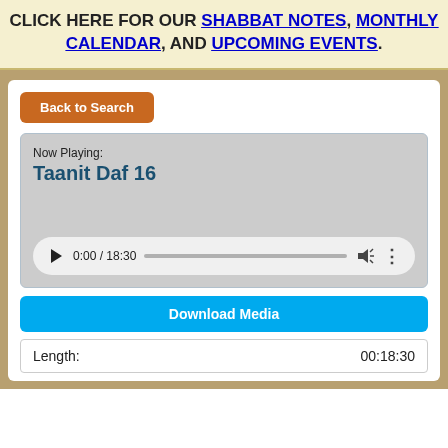CLICK HERE FOR OUR SHABBAT NOTES, MONTHLY CALENDAR, AND UPCOMING EVENTS.
[Figure (screenshot): Audio media player showing 'Now Playing: Taanit Daf 16' with play controls showing 0:00 / 18:30, a progress bar, volume and more options icons. Below is a 'Download Media' button and a Length row showing 00:18:30.]
Back to Search
Now Playing:
Taanit Daf 16
0:00 / 18:30
Download Media
Length:
00:18:30